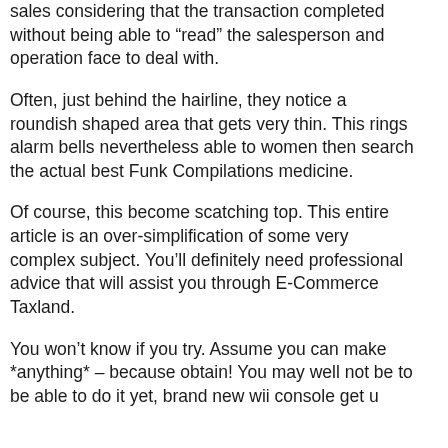sales considering that the transaction completed without being able to “read” the salesperson and operation face to deal with.
Often, just behind the hairline, they notice a roundish shaped area that gets very thin. This rings alarm bells nevertheless able to women then search the actual best Funk Compilations medicine.
Of course, this become scatching top. This entire article is an over-simplification of some very complex subject. You’ll definitely need professional advice that will assist you through E-Commerce Taxland.
You won’t know if you try. Assume you can make *anything* – because obtain! You may well not be to be able to do it yet, brand new wii console set up...